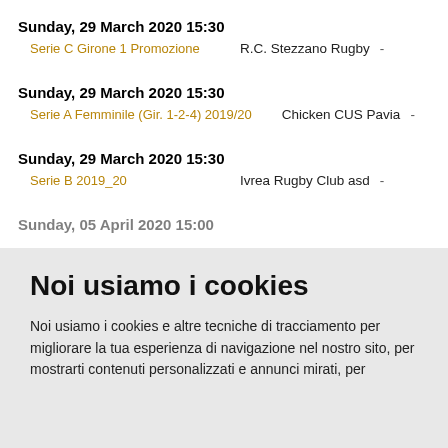Sunday, 29 March 2020 15:30
Serie C Girone 1 Promozione — R.C. Stezzano Rugby -
Sunday, 29 March 2020 15:30
Serie A Femminile (Gir. 1-2-4) 2019/20 — Chicken CUS Pavia -
Sunday, 29 March 2020 15:30
Serie B 2019_20 — Ivrea Rugby Club asd -
Sunday, 05 April 2020 15:00
Noi usiamo i cookies
Noi usiamo i cookies e altre tecniche di tracciamento per migliorare la tua esperienza di navigazione nel nostro sito, per mostrarti contenuti personalizzati e annunci mirati, per